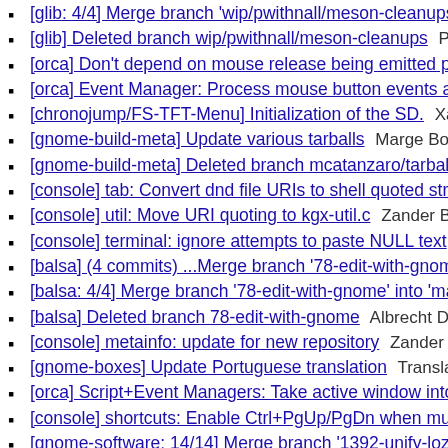[glib: 4/4] Merge branch 'wip/pwithnall/meson-cleanups-m...
[glib] Deleted branch wip/pwithnall/meson-cleanups  Philip
[orca] Don't depend on mouse release being emitted prior...
[orca] Event Manager: Process mouse button events async...
[chronojump/FS-TFT-Menu] Initialization of the SD.  Xavier
[gnome-build-meta] Update various tarballs  Marge Bot
[gnome-build-meta] Deleted branch mcatanzaro/tarballs  M...
[console] tab: Convert dnd file URIs to shell quoted strings...
[console] util: Move URI quoting to kgx-util.c  Zander Brow...
[console] terminal: ignore attempts to paste NULL text  Za...
[balsa] (4 commits) ...Merge branch '78-edit-with-gnome' ...
[balsa: 4/4] Merge branch '78-edit-with-gnome' into 'mast...
[balsa] Deleted branch 78-edit-with-gnome  Albrecht Dreß
[console] metainfo: update for new repository  Zander Bro...
[gnome-boxes] Update Portuguese translation  Translation...
[orca] Script+Event Managers: Take active window into ac...
[console] shortcuts: Enable Ctrl+PgUp/PgDn when multiple...
[gnome-software: 14/14] Merge branch '1392-unify-lozenge...
[gnome-software] (14 commits) ...Merge branch '1392-uni...
[gnome-software] Deleted branch 1392-unify-lozenge-styl...
[gnome-software] Update Portuguese translation  Translat...